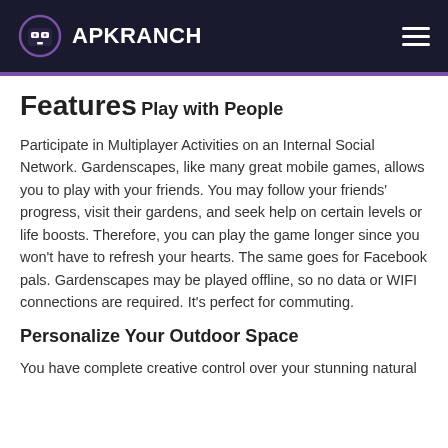APKRANCH
Features
Play with People
Participate in Multiplayer Activities on an Internal Social Network. Gardenscapes, like many great mobile games, allows you to play with your friends. You may follow your friends' progress, visit their gardens, and seek help on certain levels or life boosts. Therefore, you can play the game longer since you won't have to refresh your hearts. The same goes for Facebook pals. Gardenscapes may be played offline, so no data or WIFI connections are required. It's perfect for commuting.
Personalize Your Outdoor Space
You have complete creative control over your stunning natural